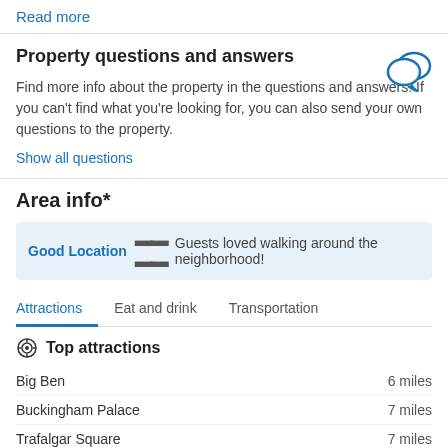Read more
Property questions and answers
Find more info about the property in the questions and answers. If you can't find what you're looking for, you can also send your own questions to the property.
Show all questions
Area info*
Good Location — Guests loved walking around the neighborhood!
Attractions
Eat and drink
Transportation
Top attractions
Big Ben — 6 miles
Buckingham Palace — 7 miles
Trafalgar Square — 7 miles